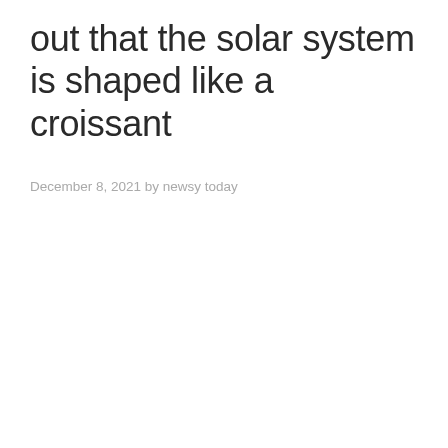out that the solar system is shaped like a croissant
December 8, 2021 by newsy today